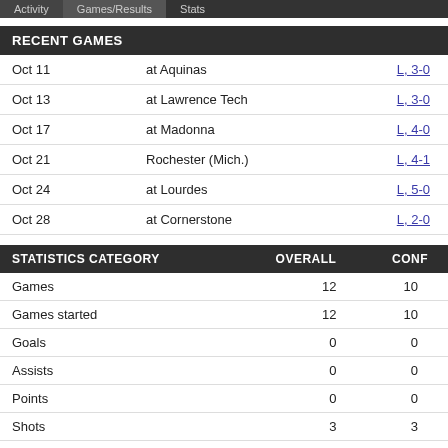Recent Games | Statistics
RECENT GAMES
| Date | Opponent | Result |
| --- | --- | --- |
| Oct 11 | at Aquinas | L, 3-0 |
| Oct 13 | at Lawrence Tech | L, 3-0 |
| Oct 17 | at Madonna | L, 4-0 |
| Oct 21 | Rochester (Mich.) | L, 4-1 |
| Oct 24 | at Lourdes | L, 5-0 |
| Oct 28 | at Cornerstone | L, 2-0 |
| STATISTICS CATEGORY | OVERALL | CONF |
| --- | --- | --- |
| Games | 12 | 10 |
| Games started | 12 | 10 |
| Goals | 0 | 0 |
| Assists | 0 | 0 |
| Points | 0 | 0 |
| Shots | 3 | 3 |
| Shot Pct | .000 | .000 |
| Penalty kicks | 0-0 | 0-0 |
| Game-winning goals | 0 | 0 |